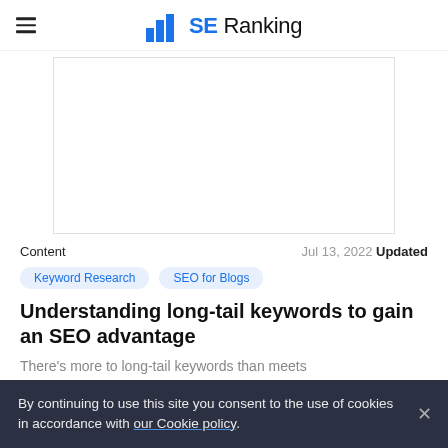SE Ranking
[Figure (other): Advertisement placeholder rectangle]
Content   Jul 13, 2022 Updated
Keyword Research
SEO for Blogs
Understanding long-tail keywords to gain an SEO advantage
There's more to long-tail keywords than meets
By continuing to use this site you consent to the use of cookies in accordance with our Cookie policy.